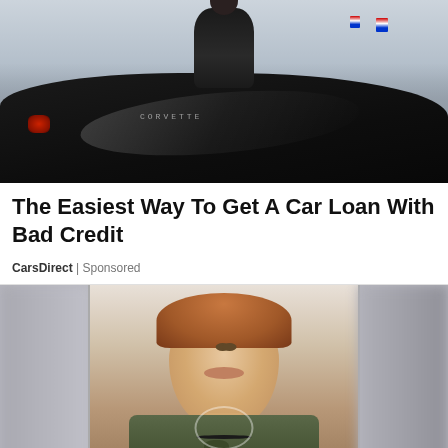[Figure (photo): Person sitting on top of a black Corvette sports car in a parking area with a city skyline in the background]
The Easiest Way To Get A Car Loan With Bad Credit
CarsDirect | Sponsored
[Figure (photo): Young girl smiling, wearing a camouflage t-shirt with 'faith' written on it, shown between two blurred images]